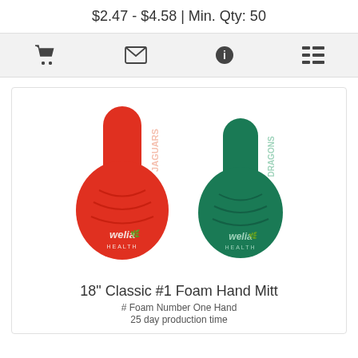$2.47 - $4.58 | Min. Qty: 50
[Figure (other): Icon bar with shopping cart, envelope, info, and list icons]
[Figure (photo): Two foam #1 hand mitts — one red labeled JAGUARS with Welia Health logo, one green labeled DRAGONS with Welia Health logo]
18" Classic #1 Foam Hand Mitt
# Foam Number One Hand
25 day production time